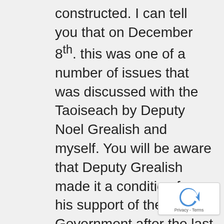constructed. I can tell you that on December 8th. this was one of a number of issues that was discussed with the Taoiseach by Deputy Noel Grealish and myself. You will be aware that Deputy Grealish made it a condition for his support of the Government after the last general election and it was written into the programme for Government. Since then  the Progressive Democrats Political Party has been wound down so Deputy Grealish is now an independent T.D. for Galway West. As a result of the meeting with the
[Figure (other): reCAPTCHA logo and Privacy - Terms text badge]